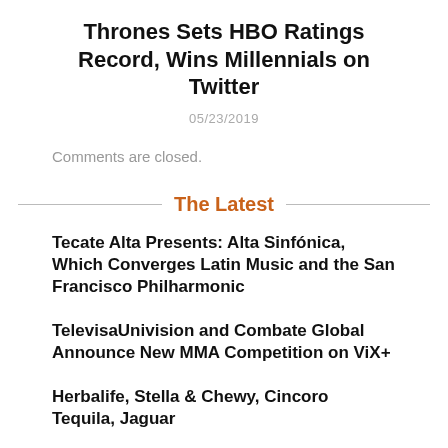Thrones Sets HBO Ratings Record, Wins Millennials on Twitter
05/23/2019
Comments are closed.
The Latest
Tecate Alta Presents: Alta Sinfónica, Which Converges Latin Music and the San Francisco Philharmonic
TelevisaUnivision and Combate Global Announce New MMA Competition on ViX+
Herbalife, Stella & Chewy, Cincoro Tequila, Jaguar